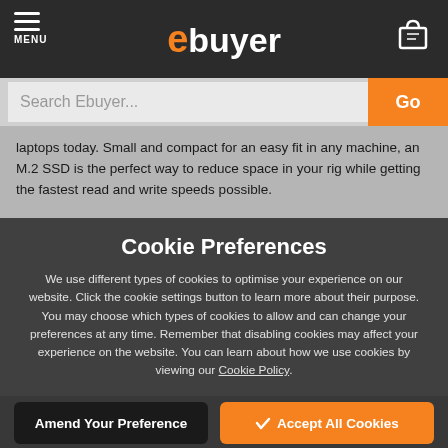ebuyer — MENU / cart
laptops today. Small and compact for an easy fit in any machine, an M.2 SSD is the perfect way to reduce space in your rig while getting the fastest read and write speeds possible.
What is an M.2 SSD?
Cookie Preferences
We use different types of cookies to optimise your experience on our website. Click the cookie settings button to learn more about their purpose. You may choose which types of cookies to allow and can change your preferences at any time. Remember that disabling cookies may affect your experience on the website. You can learn about how we use cookies by viewing our Cookie Policy.
Amend Your Preference | Accept All Cookies